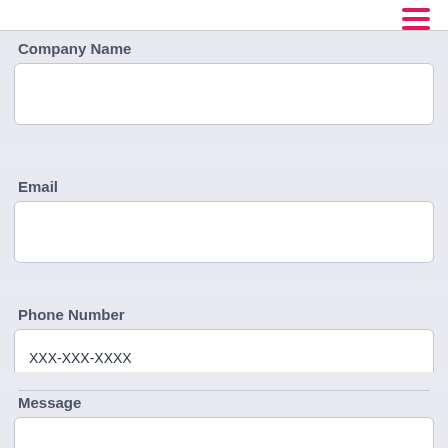[Figure (screenshot): Hamburger menu icon with three horizontal pink/red lines, positioned top right]
Company Name
[Figure (screenshot): Empty text input field for Company Name]
Email
[Figure (screenshot): Empty text input field for Email]
Phone Number
[Figure (screenshot): Text input field for Phone Number with placeholder text XXX-XXX-XXXX]
Message
[Figure (screenshot): Empty multi-line text area for Message]